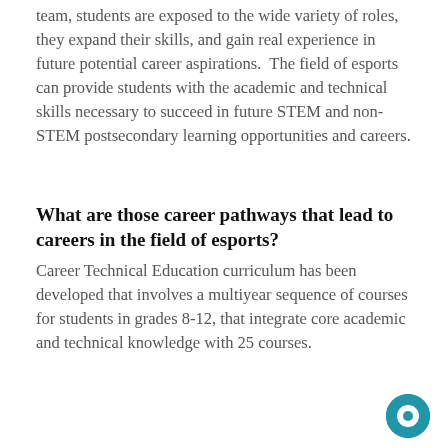team, students are exposed to the wide variety of roles, they expand their skills, and gain real experience in future potential career aspirations. The field of esports can provide students with the academic and technical skills necessary to succeed in future STEM and non-STEM postsecondary learning opportunities and careers.
What are those career pathways that lead to careers in the field of esports?
Career Technical Education curriculum has been developed that involves a multiyear sequence of courses for students in grades 8-12, that integrate core academic and technical knowledge with 25 courses.